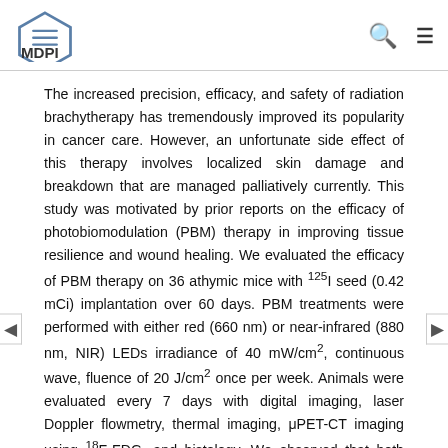MDPI
The increased precision, efficacy, and safety of radiation brachytherapy has tremendously improved its popularity in cancer care. However, an unfortunate side effect of this therapy involves localized skin damage and breakdown that are managed palliatively currently. This study was motivated by prior reports on the efficacy of photobiomodulation (PBM) therapy in improving tissue resilience and wound healing. We evaluated the efficacy of PBM therapy on 36 athymic mice with 125I seed (0.42 mCi) implantation over 60 days. PBM treatments were performed with either red (660 nm) or near-infrared (880 nm, NIR) LEDs irradiance of 40 mW/cm2, continuous wave, fluence of 20 J/cm2 once per week. Animals were evaluated every 7 days with digital imaging, laser Doppler flowmetry, thermal imaging, μPET-CT imaging using 18F-FDG, and histology. We observed that both PBM treatments—red and NIR—demonstrated significantly less incidence and severity and improved healing with skin radionecrosis. Radiation exposed tissues had improved functional parameters such as vascular